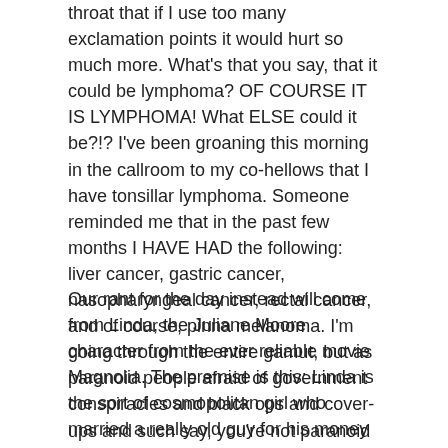throat that if I use too many exclamation points it would hurt so much more. What's that you say, that it could be lymphoma? OF COURSE IT IS LYMPHOMA! What ELSE could it be?!? I've been groaning this morning in the callroom to my co-hellows that I have tonsillar lymphoma. Someone reminded me that in the past few months I HAVE HAD the following: liver cancer, gastric cancer, nasopharyngeal cancer, rectal cancer, and of course, pinna melanoma. I'm going through the entire gamut, but as paranoid people afraid of government conspiracies and black ops and cover-ups and such say, you're not paranoid if they're really after you.
Our rant for the day instead will come from Linda, the Juliane Moore character from the ever reliable movie Magnolia. The premise is this: Linda is the sort of cosmopolitan girl who married a really old guy for his money who is now dying from, what else, cancer. She realizes, in pure heartbrokenness, that she really loves him after all. So she runs from one doctor to the next who prescribed her husband some powerful pain-killers. As she is buying all these powerful stuff (Mmmmmm, powerful STUFF), the pharmacists eye her with doubt. When she couldn't take the